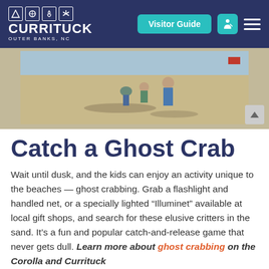[Figure (screenshot): Currituck Outer Banks NC website header navigation bar with logo, Visitor Guide button, accessibility icon, and hamburger menu]
[Figure (photo): Children and adult standing on a sandy beach, looking down at the sand, casting shadows]
Catch a Ghost Crab
Wait until dusk, and the kids can enjoy an activity unique to the beaches — ghost crabbing. Grab a flashlight and handled net, or a specially lighted “Illuminet” available at local gift shops, and search for these elusive critters in the sand. It’s a fun and popular catch-and-release game that never gets dull. Learn more about ghost crabbing on the Corolla and Currituck